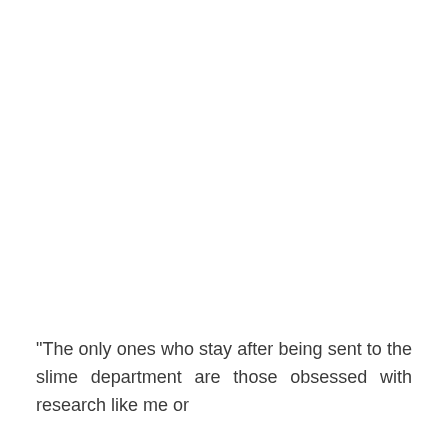“The only ones who stay after being sent to the slime department are those obsessed with research like me or